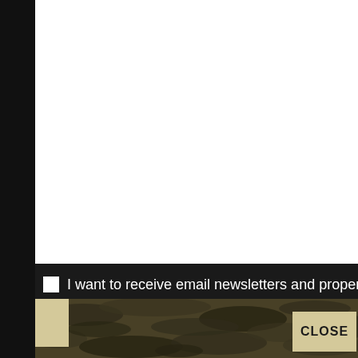[Figure (screenshot): White content area showing top portion of a webpage]
☐ I want to receive email newsletters and property
[Figure (screenshot): Camouflage patterned overlay panel with a CLOSE button and a tan accent bar on the left. Below is a large black panel area.]